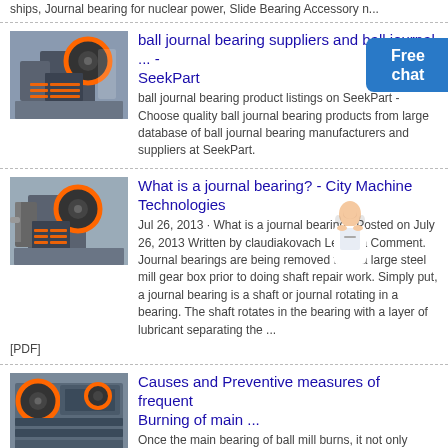ships, Journal bearing for nuclear power, Slide Bearing Accessory n...
[Figure (photo): Industrial jaw crusher machine with orange flywheel, gray body in factory setting]
ball journal bearing suppliers and ball journal ... - SeekPart
ball journal bearing product listings on SeekPart - Choose quality ball journal bearing products from large database of ball journal bearing manufacturers and suppliers at SeekPart.
[Figure (photo): Industrial jaw crusher machine with orange flywheel, gray body in factory setting]
[Figure (photo): Customer service representative illustration - woman in white jacket with headset]
What is a journal bearing? - City Machine Technologies
Jul 26, 2013 · What is a journal bearing? Posted on July 26, 2013 Written by claudiakovach Leave a Comment. Journal bearings are being removed from a large steel mill gear box prior to doing shaft repair work. Simply put, a journal bearing is a shaft or journal rotating in a bearing. The shaft rotates in the bearing with a layer of lubricant separating the ...
[PDF]
[Figure (photo): Industrial jaw crusher machine with orange flywheel in a manufacturing facility]
Causes and Preventive measures of frequent Burning of main ...
Once the main bearing of ball mill burns, it not only affects the normal production, but also shortens the life of spindle pad. There are many factors leading to the